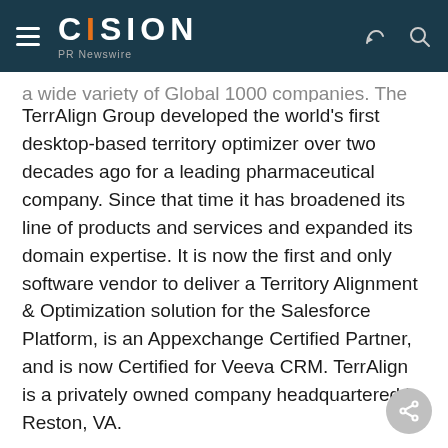CISION PR Newswire
a wide variety of Global 1000 companies. The TerrAlign Group developed the world's first desktop-based territory optimizer over two decades ago for a leading pharmaceutical company. Since that time it has broadened its line of products and services and expanded its domain expertise. It is now the first and only software vendor to deliver a Territory Alignment & Optimization solution for the Salesforce Platform, is an Appexchange Certified Partner, and is now Certified for Veeva CRM. TerrAlign is a privately owned company headquartered in Reston, VA.
About Merced Systems